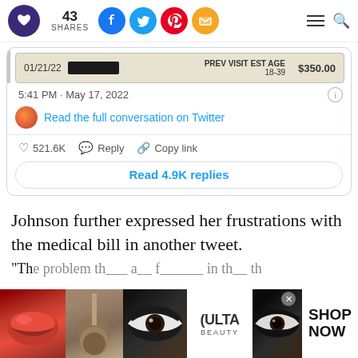43 SHARES | Social share icons | Menu | Search
[Figure (screenshot): Screenshot of a medical bill showing date 01/21/22, PREV VISIT EST AGE 18-39, $350.00, with redacted name. Tweet timestamp: 5:41 PM · May 17, 2022]
Read the full conversation on Twitter
521.6K  Reply  Copy link
Read 4.9K replies
Johnson further expressed her frustrations with the medical bill in another tweet.
"Th...
[Figure (photo): Ulta Beauty advertisement banner showing makeup/cosmetics images including lips, brush, eye makeup, Ulta logo, and eye with SHOP NOW call to action]